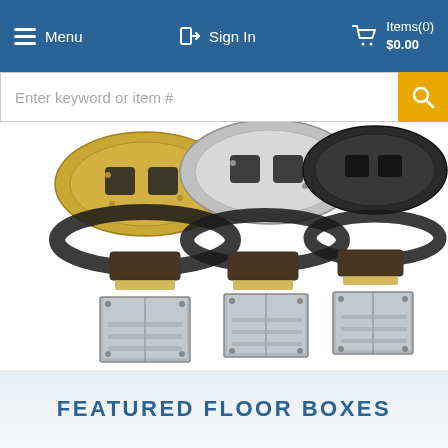Menu   Sign In   Items(0) $0.00
Enter keyword or item #
[Figure (photo): Three floor box assembly sets shown exploded view: gold/brass, silver/aluminum, and black finish round cover plates with flange rings and metal junction boxes below]
FEATURED FLOOR BOXES